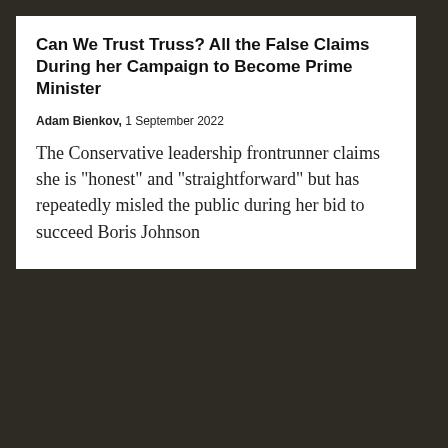Can We Trust Truss? All the False Claims During her Campaign to Become Prime Minister
Adam Bienkov, 1 September 2022
The Conservative leadership frontrunner claims she is "honest" and "straightforward" but has repeatedly misled the public during her bid to succeed Boris Johnson